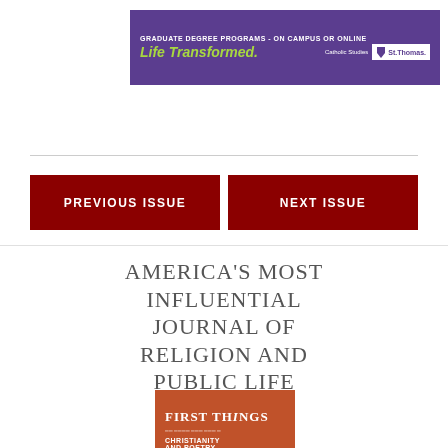[Figure (infographic): University of St. Thomas advertisement banner: 'GRADUATE DEGREE PROGRAMS - ON CAMPUS OR ONLINE' with tagline 'Life Transformed.' and Catholic Studies / St. Thomas logo on purple background]
PREVIOUS ISSUE
NEXT ISSUE
AMERICA'S MOST INFLUENTIAL JOURNAL OF RELIGION AND PUBLIC LIFE
[Figure (illustration): First Things magazine cover with orange/red background showing 'FIRST THINGS' title and 'CHRISTIANITY AND POETRY' subtitle]